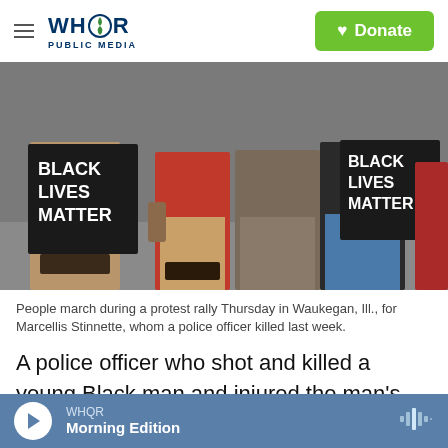WHQR PUBLIC MEDIA | Donate
[Figure (photo): People marching during a protest rally holding Black Lives Matter signs. Protesters are seen from the waist down, carrying large black signs with white text reading BLACK LIVES MATTER.]
People march during a protest rally Thursday in Waukegan, Ill., for Marcellis Stinnette, whom a police officer killed last week.
A police officer who shot and killed a young Black man and injured the man's girlfriend during a traffic stop last week in Waukegan, Ill., has been fired. City officials are expected to release police video of
WHQR Morning Edition